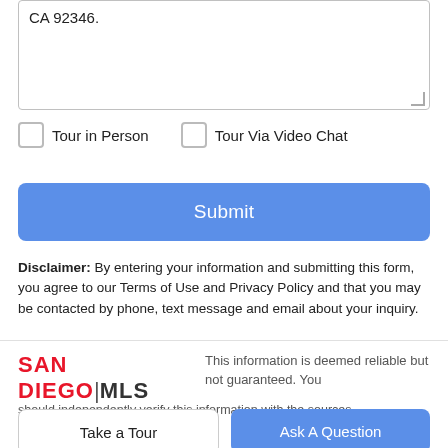CA 92346.
Tour in Person
Tour Via Video Chat
Submit
Disclaimer: By entering your information and submitting this form, you agree to our Terms of Use and Privacy Policy and that you may be contacted by phone, text message and email about your inquiry.
[Figure (logo): SAN DIEGO | MLS logo in red and black text]
This information is deemed reliable but not guaranteed. You
should independently verify this information with the sources.
Take a Tour
Ask A Question